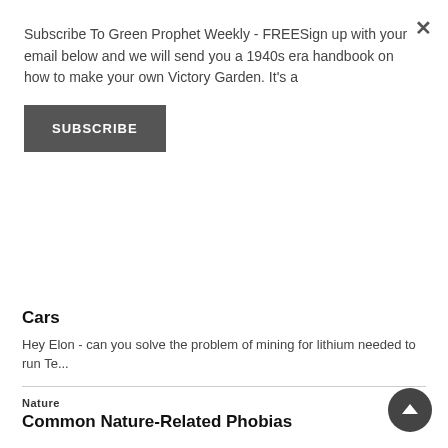Subscribe To Green Prophet Weekly - FREESign up with your email below and we will send you a 1940s era handbook on how to make your own Victory Garden. It's a
SUBSCRIBE
Do you have an ancient, vintage boiler you can't part with? Maybe it's time...
Transportation
Why Electric Cars Are Better Than Traditional Cars
Hey Elon - can you solve the problem of mining for lithium needed to run Te...
Nature
Common Nature-Related Phobias